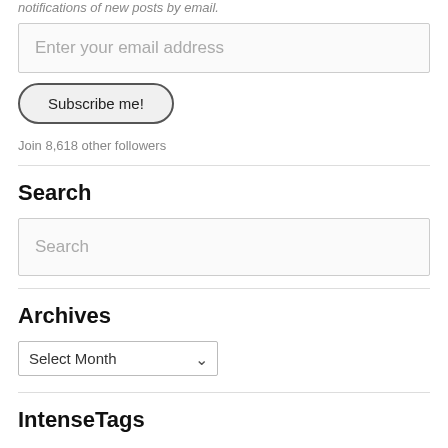notifications of new posts by email.
Enter your email address
Subscribe me!
Join 8,618 other followers
Search
Search
Archives
Select Month
IntenseTags